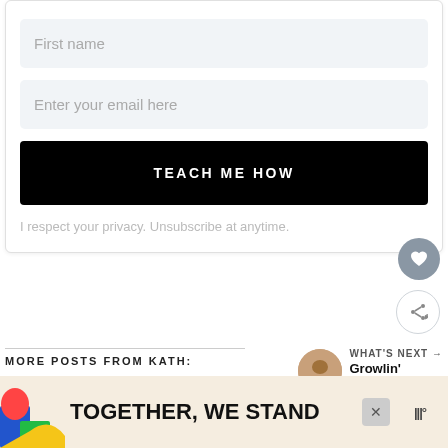First name
Enter your email here
TEACH ME HOW
I respect your privacy. Unsubscribe at anytime.
MORE POSTS FROM KATH:
WHAT'S NEXT → Growlin' Ghrelin
[Figure (photo): Two photo thumbnails side by side: left shows a light-toned abstract close-up, right shows a dark background with a glass]
[Figure (infographic): Ad banner: colorful shapes on left, bold text TOGETHER, WE STAND, close button X, logo on right]